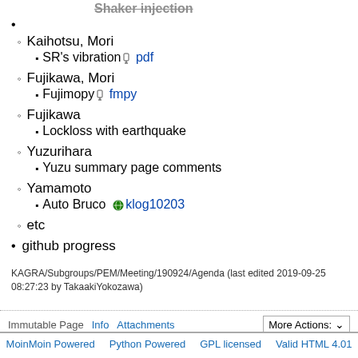Kaihotsu, Mori
SR's vibration [attachment] pdf
Fujikawa, Mori
Fujimopy [attachment] fmpy
Fujikawa
Lockloss with earthquake
Yuzurihara
Yuzu summary page comments
Yamamoto
Auto Bruco [globe] klog10203
etc
github progress
KAGRA/Subgroups/PEM/Meeting/190924/Agenda (last edited 2019-09-25 08:27:23 by TakaakiYokozawa)
Immutable Page  Info  Attachments  More Actions: | MoinMoin Powered  Python Powered  GPL licensed  Valid HTML 4.01